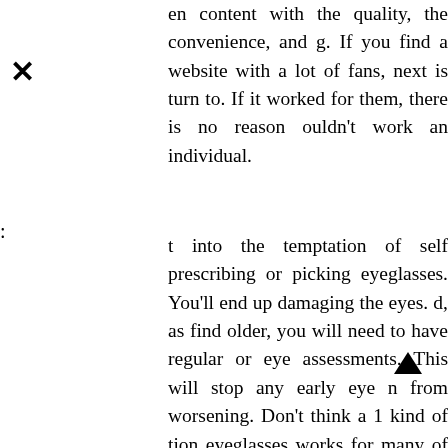en content with the quality, the convenience, and g. If you find a website with a lot of fans, next is turn to. If it worked for them, there is no reason ouldn't work an individual.
t into the temptation of self prescribing or picking eyeglasses. You'll end up damaging the eyes. d, as find older, you will need to have regular or eye assessments. This will stop any early eye n from worsening. Don't think a 1 kind of tion eyeglasses works for many of kinds of eyes. ve access to headaches, publicize the problem ent.
this most popular styles with regards to fertilizer ue eyeglasses could be the cat style glasses. vere very popular in the 1950s and 1960s. They d of eyeglasses that were slanted sharply at the om the them contained rhinestones on the inside Cat glasses have never really lost their splendor